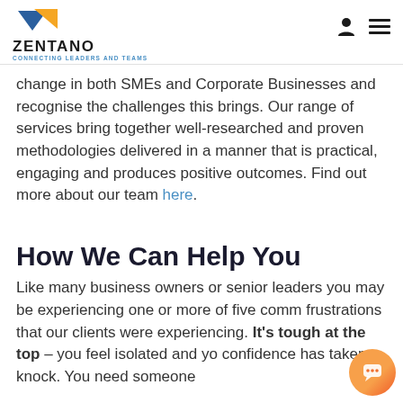ZENTANO – CONNECTING LEADERS AND TEAMS
change in both SMEs and Corporate Businesses and recognise the challenges this brings. Our range of services bring together well-researched and proven methodologies delivered in a manner that is practical, engaging and produces positive outcomes. Find out more about our team here.
How We Can Help You
Like many business owners or senior leaders you may be experiencing one or more of five comm frustrations that our clients were experiencing. It's tough at the top – you feel isolated and yo confidence has taken a knock. You need someone